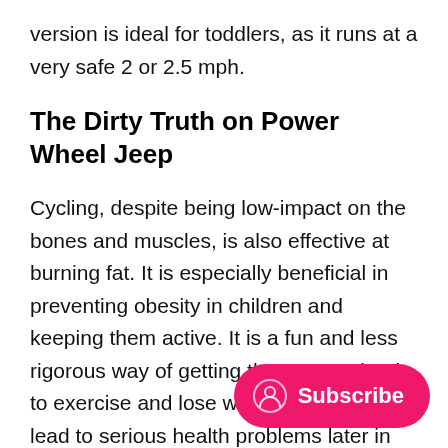version is ideal for toddlers, as it runs at a very safe 2 or 2.5 mph.
The Dirty Truth on Power Wheel Jeep
Cycling, despite being low-impact on the bones and muscles, is also effective at burning fat. It is especially beneficial in preventing obesity in children and keeping them active. It is a fun and less rigorous way of getting the power wheel to exercise and lose weight, which can lead to serious health problems later in life. Allow them to go outside with adult supervision if they go outside. Remember to check the tire and other concerns before venturing outside.
Best power wheel gives kids the opp their own ride-on toy that allows them to pretend
[Figure (other): Pink pill-shaped subscribe button with user icon and 'Subscribe' text in white]